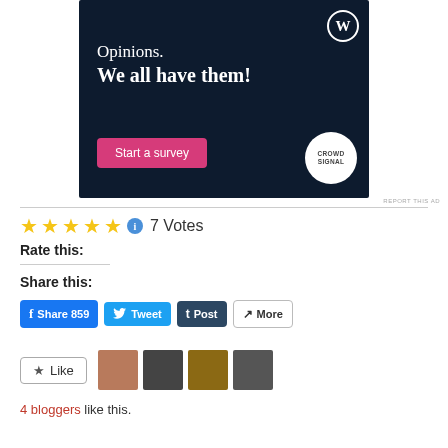[Figure (screenshot): WordPress/Crowdsignal advertisement banner with dark navy background. Text reads 'Opinions. We all have them!' with a pink 'Start a survey' button and the Crowdsignal logo.]
REPORT THIS AD
★★★★★ ℹ 7 Votes
Rate this:
Share this:
f Share 859   Tweet   t Post   ↗ More
★ Like
4 bloggers like this.